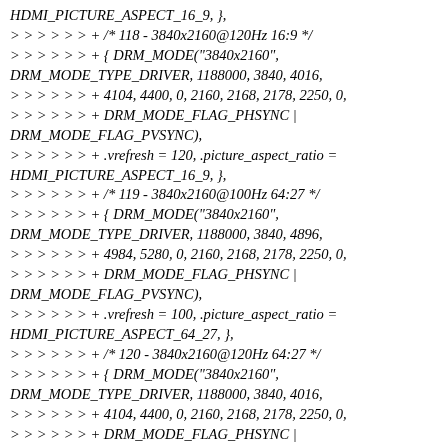HDMI_PICTURE_ASPECT_16_9, },
> > > > > > + /* 118 - 3840x2160@120Hz 16:9 */
> > > > > > + { DRM_MODE("3840x2160", DRM_MODE_TYPE_DRIVER, 1188000, 3840, 4016,
> > > > > > + 4104, 4400, 0, 2160, 2168, 2178, 2250, 0,
> > > > > > + DRM_MODE_FLAG_PHSYNC | DRM_MODE_FLAG_PVSYNC),
> > > > > > + .vrefresh = 120, .picture_aspect_ratio = HDMI_PICTURE_ASPECT_16_9, },
> > > > > > + /* 119 - 3840x2160@100Hz 64:27 */
> > > > > > + { DRM_MODE("3840x2160", DRM_MODE_TYPE_DRIVER, 1188000, 3840, 4896,
> > > > > > + 4984, 5280, 0, 2160, 2168, 2178, 2250, 0,
> > > > > > + DRM_MODE_FLAG_PHSYNC | DRM_MODE_FLAG_PVSYNC),
> > > > > > + .vrefresh = 100, .picture_aspect_ratio = HDMI_PICTURE_ASPECT_64_27, },
> > > > > > + /* 120 - 3840x2160@120Hz 64:27 */
> > > > > > + { DRM_MODE("3840x2160", DRM_MODE_TYPE_DRIVER, 1188000, 3840, 4016,
> > > > > > + 4104, 4400, 0, 2160, 2168, 2178, 2250, 0,
> > > > > > + DRM_MODE_FLAG_PHSYNC | DRM_MODE_FLAG_PVSYNC),
> > > > > > + .vrefresh = 120, .picture_aspect_ratio = HDMI_PICTURE_ASPECT_64_27, },